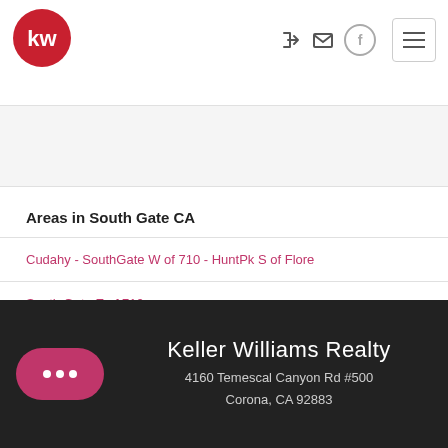[Figure (logo): Keller Williams red circle logo with white 'kw' text]
Areas in South Gate CA
Cudahy - SouthGate W of 710 - HuntPk S of Flore
South Gate E of 710
Keller Williams Realty
4160 Temescal Canyon Rd #500
Corona, CA 92883